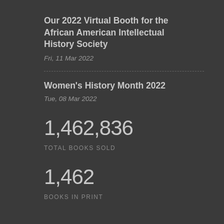Our 2022 Virtual Booth for the African American Intellectual History Society
Fri, 11 Mar 2022
Women's History Month 2022
Tue, 08 Mar 2022
1,462,836
TOTAL BOOKS SOLD
1,462
BOOKS IN PRINT